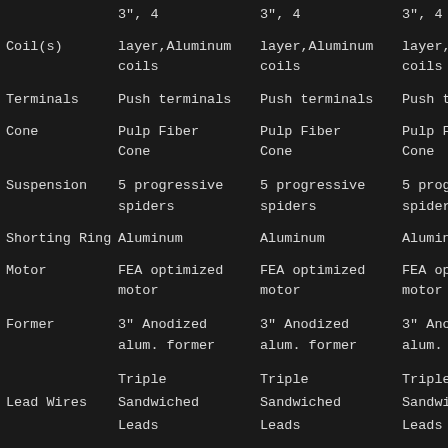|  | Col1 | Col2 | Col3 | Col4 |
| --- | --- | --- | --- | --- |
|  | 3", 4 | 3", 4 | 3", 4 | 3"... |
| Coil(s) | layer, Aluminum coils | layer, Aluminum coils | layer, Aluminum coils | layer, Alum... coils |
| Terminals | Push terminals | Push terminals | Push terminals | Push terminals |
| Cone | Pulp Fiber Cone | Pulp Fiber Cone | Pulp Fiber Cone | Pulp Fiber Cone |
| Suspension | 5 progressive spiders | 5 progressive spiders | 5 progressive spiders | 5 progressive spiders |
| Shorting Ring | Aluminum | Aluminum | Aluminum | Aluminum |
| Motor | FEA optimized motor | FEA optimized motor | FEA optimized motor | FEA optimized motor |
| Former | 3" Anodized alum. former | 3" Anodized alum. former | 3" Anodized alum. former | 3" Anodized alum. former |
| Lead Wires | Triple Sandwiched Leads | Triple Sandwiched Leads | Triple Sandwiched Leads | Triple Sandwiched Leads |